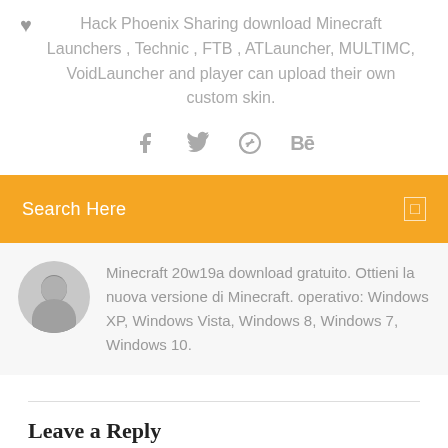Hack Phoenix Sharing download Minecraft Launchers , Technic , FTB , ATLauncher, MULTIMC, VoidLauncher and player can upload their own custom skin.
[Figure (infographic): Social media icons: Facebook (f), Twitter (bird), Dribbble (ball), Behance (Bé)]
[Figure (infographic): Orange search bar with text 'Search Here' and a small square icon on the right]
Minecraft 20w19a download gratuito. Ottieni la nuova versione di Minecraft. operativo: Windows XP, Windows Vista, Windows 8, Windows 7, Windows 10.
Leave a Reply